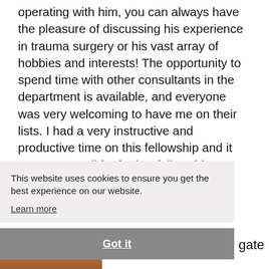operating with him, you can always have the pleasure of discussing his experience in trauma surgery or his vast array of hobbies and interests! The opportunity to spend time with other consultants in the department is available, and everyone was very welcoming to have me on their lists. I had a very instructive and productive time on this fellowship and it set me up well for further fellowship training at Exeter
This website uses cookies to ensure you get the best experience on our website.
Learn more
Got it
gate
[Figure (photo): Partial photo of a person's face/head at bottom left of page]